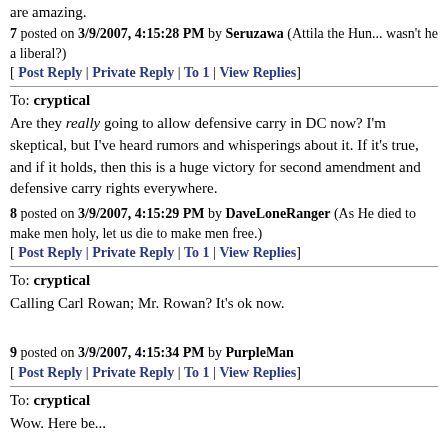are amazing.
7 posted on 3/9/2007, 4:15:28 PM by Seruzawa (Attila the Hun... wasn't he a liberal?)
[ Post Reply | Private Reply | To 1 | View Replies]
To: cryptical
Are they really going to allow defensive carry in DC now? I'm skeptical, but I've heard rumors and whisperings about it. If it's true, and if it holds, then this is a huge victory for second amendment and defensive carry rights everywhere.
8 posted on 3/9/2007, 4:15:29 PM by DaveLoneRanger (As He died to make men holy, let us die to make men free.)
[ Post Reply | Private Reply | To 1 | View Replies]
To: cryptical
Calling Carl Rowan; Mr. Rowan? It's ok now.
9 posted on 3/9/2007, 4:15:34 PM by PurpleMan
[ Post Reply | Private Reply | To 1 | View Replies]
To: cryptical
Wow. Here be...